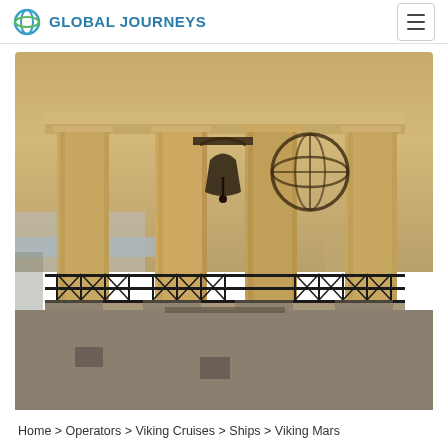GLOBAL JOURNEYS
[Figure (photo): Photograph of large stone classical columns with a bell visible between them, iron railings on a terrace, golden warm light, sea visible in background — appears to be a Maltese war memorial or classical monument at sunset]
Home > Operators > Viking Cruises > Ships > Viking Mars